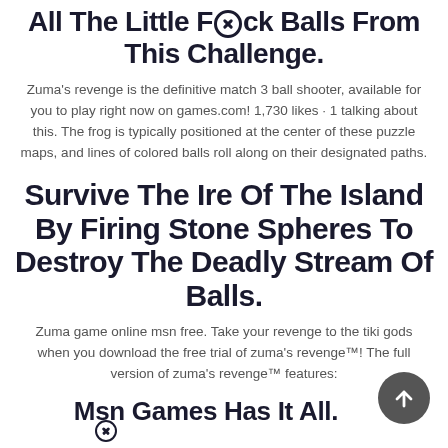All The Little Fock Balls From This Challenge.
Zuma's revenge is the definitive match 3 ball shooter, available for you to play right now on games.com! 1,730 likes · 1 talking about this. The frog is typically positioned at the center of these puzzle maps, and lines of colored balls roll along on their designated paths.
Survive The Ire Of The Island By Firing Stone Spheres To Destroy The Deadly Stream Of Balls.
Zuma game online msn free. Take your revenge to the tiki gods when you download the free trial of zuma's revenge™! The full version of zuma's revenge™ features:
Msn Games Has It All.